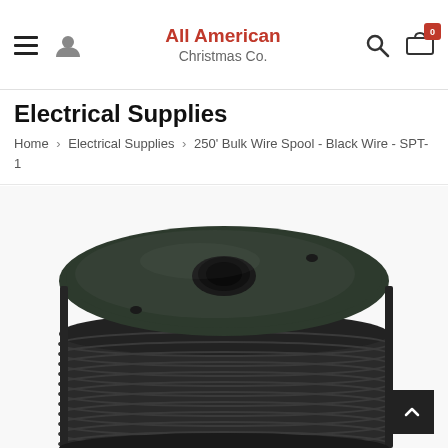All American Christmas Co. — navigation header with hamburger menu, user icon, search icon, cart icon (badge: 0)
Electrical Supplies
Home > Electrical Supplies > 250' Bulk Wire Spool - Black Wire - SPT-1
[Figure (photo): Close-up top view of a large dark green/black wire spool with coiled SPT-1 wire wrapped around it, showing the flat circular top flange with a central hole and two small screw holes.]